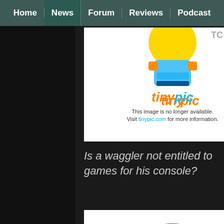Home | News | Forum | Reviews | Podcast
[Figure (screenshot): Tinypic placeholder image showing a sad robot character with text 'This image is no longer available. Visit tinypic.com for more information.']
Is a waggler not entitled to games for his console?
[Figure (screenshot): Tinypic placeholder image showing a sad robot character with text 'This image is no longer available. Visit tinypic.com for more information.']
"No," says the man in Microsoft.